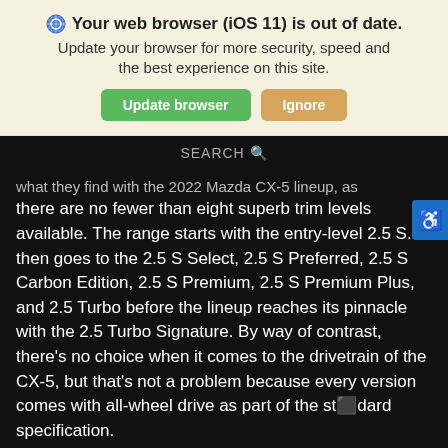Your web browser (iOS 11) is out of date. Update your browser for more security, speed and the best experience on this site.
Update browser | Ignore
SEARCH
what they find with the 2022 Mazda CX-5 lineup, as there are no fewer than eight superb trim levels available. The range starts with the entry-level 2.5 S. It then goes to the 2.5 S Select, 2.5 S Preferred, 2.5 S Carbon Edition, 2.5 S Premium, 2.5 S Premium Plus, and 2.5 Turbo before the lineup reaches its pinnacle with the 2.5 Turbo Signature. By way of contrast, there's no choice when it comes to the drivetrain of the CX-5, but that's not a problem because every version comes with all-wheel drive as part of the standard specification.
[Figure (photo): Partial photo of a building with trees, dark-toned]
Search | Contact | Saved